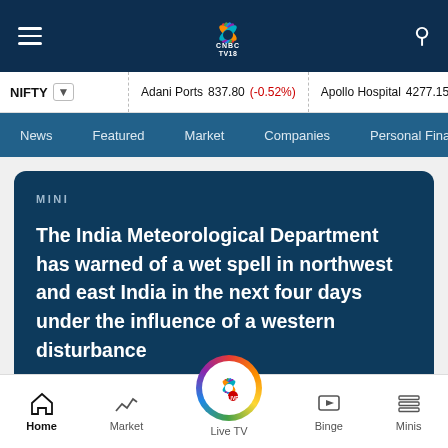CNBC TV18 — navigation bar with hamburger menu, logo, and search icon
NIFTY ▾  |  Adani Ports 837.80 (-0.52%)  |  Apollo Hospital 4277.15 (-1…
News  Featured  Market  Companies  Personal Finance
MINI
The India Meteorological Department has warned of a wet spell in northwest and east India in the next four days under the influence of a western disturbance
Home  Market  Live TV  Binge  Minis